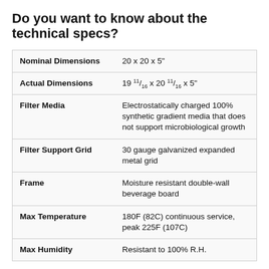Do you want to know about the technical specs?
|  |  |
| --- | --- |
| Nominal Dimensions | 20 x 20 x 5" |
| Actual Dimensions | 19 11/16 x 20 11/16 x 5" |
| Filter Media | Electrostatically charged 100% synthetic gradient media that does not support microbiological growth |
| Filter Support Grid | 30 gauge galvanized expanded metal grid |
| Frame | Moisture resistant double-wall beverage board |
| Max Temperature | 180F (82C) continuous service, peak 225F (107C) |
| Max Humidity | Resistant to 100% R.H. |